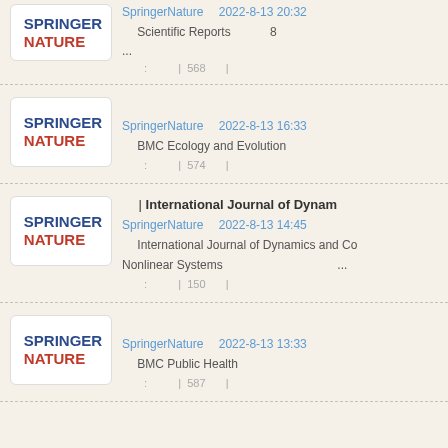SpringerNature　　　2022-8-13 20:32 | Scientific Reports　　　8　　… | 568 |
| SpringerNature　　　2022-8-13 16:33 | BMC Ecology and Evolution　　 | 574 |
| International Journal of Dynamics and Control | SpringerNature　　　2022-8-13 14:45 | International Journal of Dynamics and Control Nonlinear Systems　… | 150 |
| SpringerNature　　　2022-8-13 13:33 | BMC Public Health　　 | 587 |